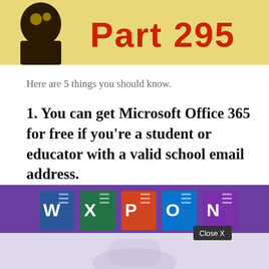[Figure (illustration): Banner with golden/yellow background showing a silhouetted head with gears and bold red text reading 'Part 295']
Here are 5 things you should know.
1. You can get Microsoft Office 365 for free if you're a student or educator with a valid school email address.
[Figure (screenshot): Microsoft Office 365 app icons banner: Word (blue), Excel (green), PowerPoint (red), Outlook (blue), OneNote (purple) on a purple background, with a 'Close X' button overlay and light purple bottom section with faint figure silhouette]